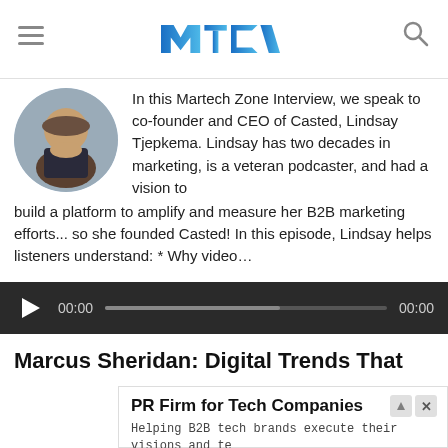MTC (Martech Zone) logo with hamburger menu and search icon
In this Martech Zone Interview, we speak to co-founder and CEO of Casted, Lindsay Tjepkema. Lindsay has two decades in marketing, is a veteran podcaster, and had a vision to build a platform to amplify and measure her B2B marketing efforts... so she founded Casted! In this episode, Lindsay helps listeners understand: * Why video…
[Figure (other): Audio player with play button, time display 00:00, progress bar, and end time 00:00 on dark background]
Marcus Sheridan: Digital Trends That
[Figure (other): Advertisement banner: PR Firm for Tech Companies. Helping B2B tech brands execute their visions and tell their stories. info.redfancommunications.com with Learn More button]